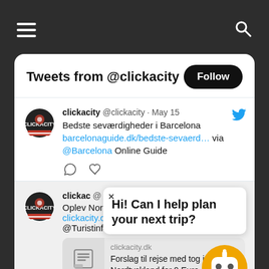☰ [menu] [search]
Tweets from @clickacity
Follow
clickacity @clickacity · May 15
Bedste seværdigheder i Barcelona
barcelonaguide.dk/bedste-sevaerd… via @Barcelona Online Guide
clickac @[...]
Oplev Nordt...
clickacity.dk/...
@Turistinformation, Sammenlign priser
Hi! Can I help plan your next trip?
clickacity.dk
Forslag til rejse med tog i Nordtyskland for 9 Euro